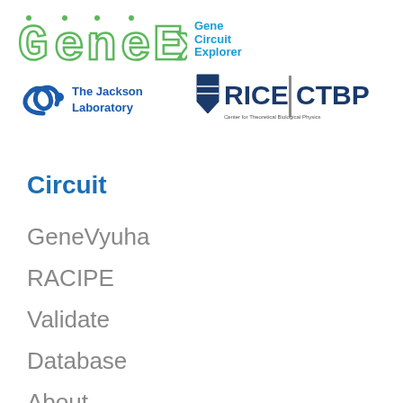[Figure (logo): GeneEx Gene Circuit Explorer logo with green circuit-board style lettering and blue text 'Gene Circuit Explorer']
[Figure (logo): The Jackson Laboratory logo (JAX blue swirl) and Rice CTBP (Center for Theoretical Biological Physics) logo side by side]
Circuit
GeneVyuha
RACIPE
Validate
Database
About
Forum